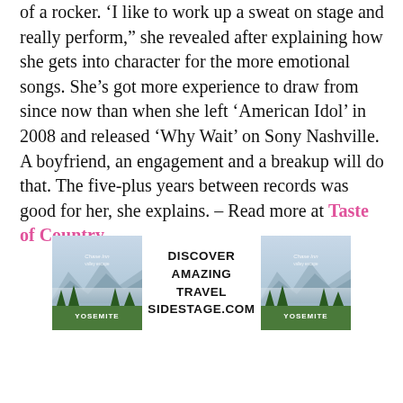of a rocker. 'I like to work up a sweat on stage and really perform,' she revealed after explaining how she gets into character for the more emotional songs. She's got more experience to draw from since now than when she left 'American Idol' in 2008 and released 'Why Wait' on Sony Nashville. A boyfriend, an engagement and a breakup will do that. The five-plus years between records was good for her, she explains. – Read more at Taste of Country
[Figure (infographic): Advertisement banner for sidestage.com showing two Yosemite mountain landscape images flanking the text 'DISCOVER AMAZING TRAVEL SIDESTAGE.COM']